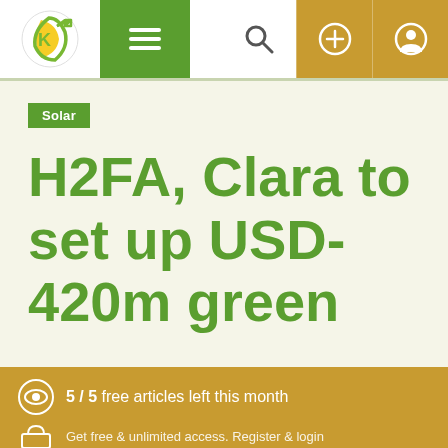[Figure (logo): Circular green/yellow logo with K and arrow]
Navigation bar with menu, search, plus and user icons
Solar
H2FA, Clara to set up USD-420m green
5 / 5  free articles left this month
We use cookies to offer you a better browsing experience, personalise content and ads, to provide social media features and to analyse our traffic.